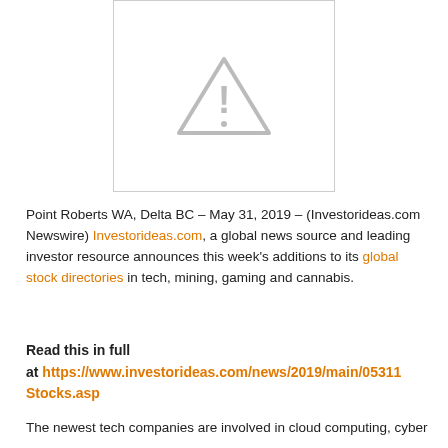[Figure (other): Broken image placeholder — grey triangle with exclamation mark warning icon on white background with border]
Point Roberts WA, Delta BC – May 31, 2019 – (Investorideas.com Newswire) Investorideas.com, a global news source and leading investor resource announces this week's additions to its global stock directories in tech, mining, gaming and cannabis.
Read this in full at https://www.investorideas.com/news/2019/main/05311Stocks.asp
The newest tech companies are involved in cloud computing, cyber